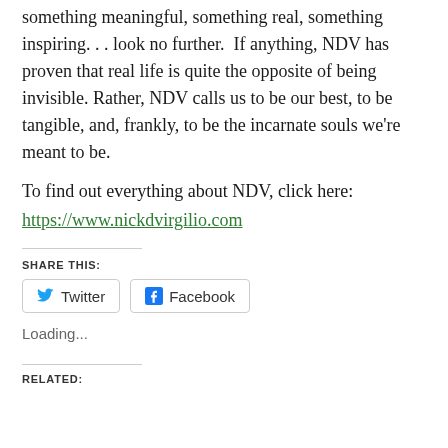something meaningful, something real, something inspiring. . . look no further.  If anything, NDV has proven that real life is quite the opposite of being invisible. Rather, NDV calls us to be our best, to be tangible, and, frankly, to be the incarnate souls we're meant to be.
To find out everything about NDV, click here: https://www.nickdvirgilio.com
SHARE THIS:
Twitter   Facebook
Loading...
RELATED: